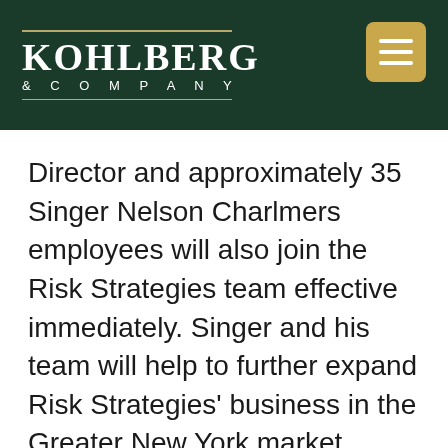[Figure (logo): Kohlberg & Company logo on dark green background with gold hamburger menu button in top right]
Director and approximately 35 Singer Nelson Charlmers employees will also join the Risk Strategies team effective immediately. Singer and his team will help to further expand Risk Strategies' business in the Greater New York market, while gaining access to Risk Strategies' national network of resources.